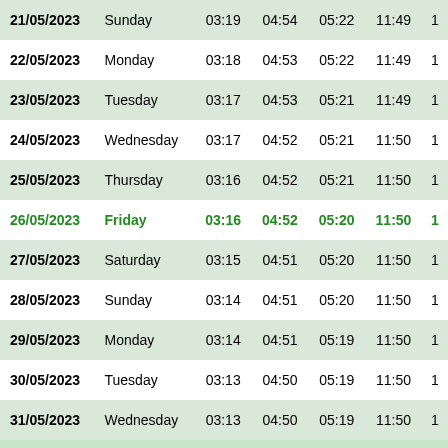| Date | Day | Col3 | Col4 | Col5 | Col6 | Col7 |
| --- | --- | --- | --- | --- | --- | --- |
| 21/05/2023 | Sunday | 03:19 | 04:54 | 05:22 | 11:49 | 1 |
| 22/05/2023 | Monday | 03:18 | 04:53 | 05:22 | 11:49 | 1 |
| 23/05/2023 | Tuesday | 03:17 | 04:53 | 05:21 | 11:49 | 1 |
| 24/05/2023 | Wednesday | 03:17 | 04:52 | 05:21 | 11:50 | 1 |
| 25/05/2023 | Thursday | 03:16 | 04:52 | 05:21 | 11:50 | 1 |
| 26/05/2023 | Friday | 03:16 | 04:52 | 05:20 | 11:50 | 1 |
| 27/05/2023 | Saturday | 03:15 | 04:51 | 05:20 | 11:50 | 1 |
| 28/05/2023 | Sunday | 03:14 | 04:51 | 05:20 | 11:50 | 1 |
| 29/05/2023 | Monday | 03:14 | 04:51 | 05:19 | 11:50 | 1 |
| 30/05/2023 | Tuesday | 03:13 | 04:50 | 05:19 | 11:50 | 1 |
| 31/05/2023 | Wednesday | 03:13 | 04:50 | 05:19 | 11:50 | 1 |
Prayer times were calculated based on Umm al-Qura, Makkah, Sa... Qibla Hour is the time when the sun is at the direction of Qibla (Makkah) or... Prepared by: Alhabib - Coloring with Islam - www.al-...
Other Monthly Prayer Timetables for Al Jahra-Block 1 - Year 2023 AD